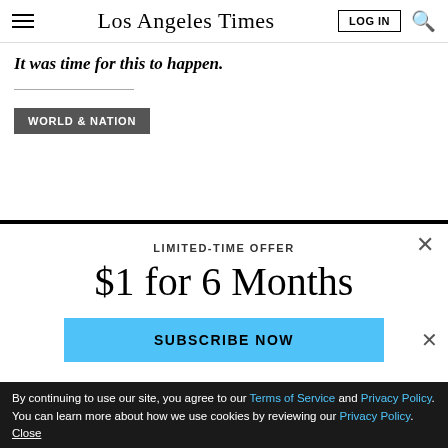Los Angeles Times
It was time for this to happen.
WORLD & NATION
LIMITED-TIME OFFER
$1 for 6 Months
SUBSCRIBE NOW
By continuing to use our site, you agree to our Terms of Service and Privacy Policy. You can learn more about how we use cookies by reviewing our Privacy Policy. Close